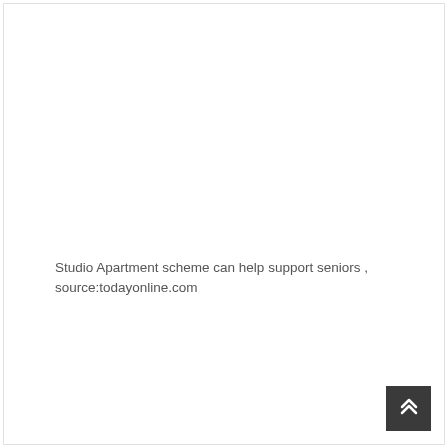Studio Apartment scheme can help support seniors , source:todayonline.com
[Figure (other): Back to top button with double chevron up arrow, dark gray background]